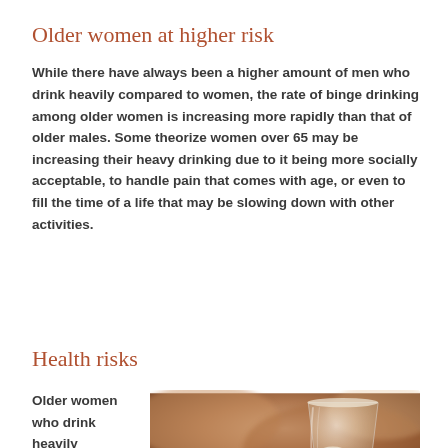Older women at higher risk
While there have always been a higher amount of men who drink heavily compared to women, the rate of binge drinking among older women is increasing more rapidly than that of older males. Some theorize women over 65 may be increasing their heavy drinking due to it being more socially acceptable, to handle pain that comes with age, or even to fill the time of a life that may be slowing down with other activities.
Health risks
Older women who drink heavily
[Figure (photo): Close-up photo of a glass with a drink, blurred warm-toned background showing hands]